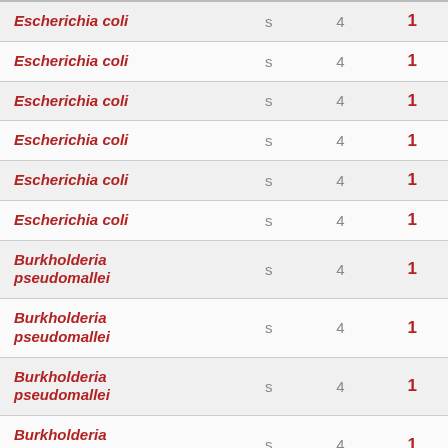| Species |  |  |  |
| --- | --- | --- | --- |
| Escherichia coli | s | 4 | 1 |
| Escherichia coli | s | 4 | 1 |
| Escherichia coli | s | 4 | 1 |
| Escherichia coli | s | 4 | 1 |
| Escherichia coli | s | 4 | 1 |
| Escherichia coli | s | 4 | 1 |
| Burkholderia pseudomallei | s | 4 | 1 |
| Burkholderia pseudomallei | s | 4 | 1 |
| Burkholderia pseudomallei | s | 4 | 1 |
| Burkholderia pseudomallei | s | 4 | 1 |
| Burkholderia pseudomallei | s | 4 | 1 |
| Burkholderia pseudomallei | s | 4 | 1 |